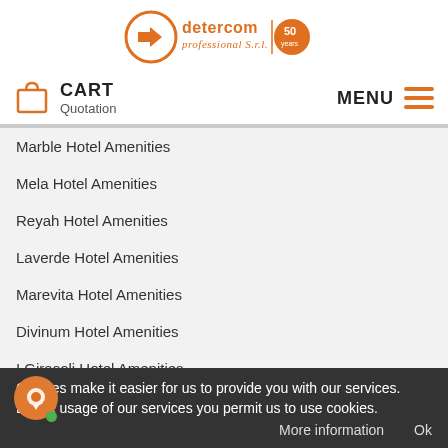[Figure (logo): Detercom Professional S.r.l. logo with orange circle and arrow icon, 50 years anniversary badge]
CART Quotation | MENU
Marble Hotel Amenities
Mela Hotel Amenities
Reyah Hotel Amenities
Laverde Hotel Amenities
Marevita Hotel Amenities
Divinum Hotel Amenities
I Girasoli Hotel Amenities
Pocono Blue Hotel Amenities (partially visible)
Cookies make it easier for us to provide you with our services. By the usage of our services you permit us to use cookies.
More information   Ok